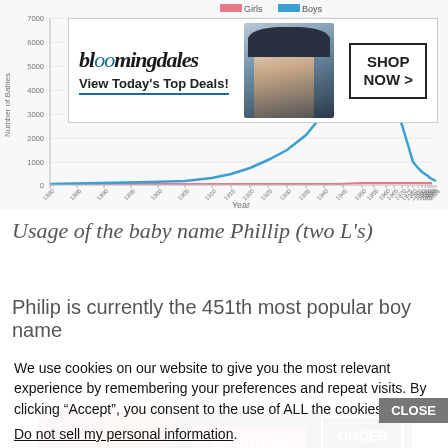[Figure (line-chart): Line chart showing usage of baby name Phillip over years 1880-2021. Pink line for Girls (nearly flat near 0), blue line for Boys (rises from near 0 to peak ~6000 around 1940s-1950s, then declines to ~600 by 2021).]
[Figure (other): Bloomingdale's advertisement banner: View Today's Top Deals! SHOP NOW >]
Usage of the baby name Phillip (two L's)
Philip is currently the 451th most popular boy name
We use cookies on our website to give you the most relevant experience by remembering your preferences and repeat visits. By clicking “Accept”, you consent to the use of ALL the cookies.
Do not sell my personal information.
[Figure (other): Seamless food delivery advertisement: pizza image, seamless logo, ORDER NOW button]